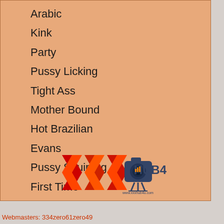Arabic
Kink
Party
Pussy Licking
Tight Ass
Mother Bound
Hot Brazilian
Evans
Pussy Squirting
First Time
[Figure (logo): XXX Hub4U logo with camera icon and website www.xxxhub4u.com]
Webmasters: 334zero61zero49